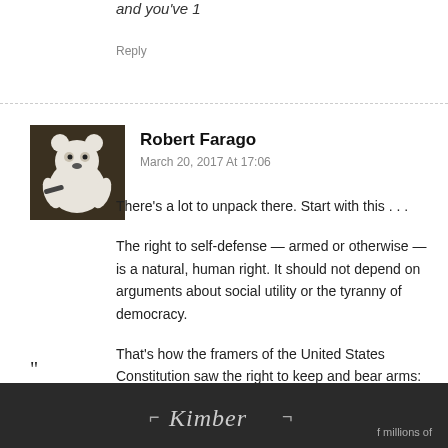and you've 1
Reply
Robert Farago
March 20, 2017 At 17:06
[Figure (photo): Avatar photo of a stuffed white bear toy with a gun]
There's a lot to unpack there. Start with this . . .
The right to self-defense — armed or otherwise — is a natural, human right. It should not depend on arguments about social utility or the tyranny of democracy.
That's how the framers of the United States Constitution saw the right to keep and bear arms: as an individual right that cannot be trumped by government, regardless of good
"
[Figure (logo): Kimber logo on dark background banner, with text about millions of]